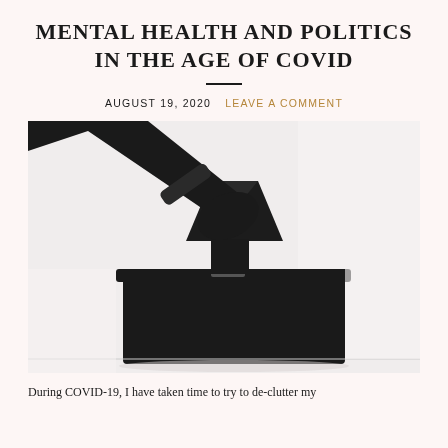MENTAL HEALTH AND POLITICS IN THE AGE OF COVID
AUGUST 19, 2020   LEAVE A COMMENT
[Figure (photo): Silhouette of a hand inserting a ballot/envelope into a black ballot box, on a light background.]
During COVID-19, I have taken time to try to de-clutter my